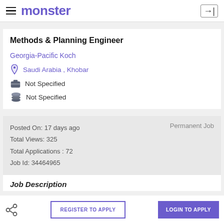monster
Methods & Planning Engineer
Georgia-Pacific Koch
Saudi Arabia , Khobar
Not Specified
Not Specified
Posted On: 17 days ago
Total Views: 325
Total Applications : 72
Job Id: 34464965
Permanent Job
Job Description
REGISTER TO APPLY
LOGIN TO APPLY